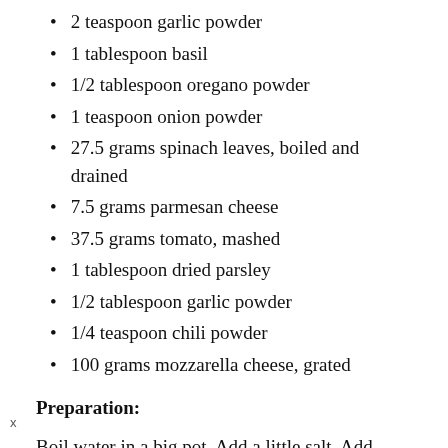2 teaspoon garlic powder
1 tablespoon basil
1/2 tablespoon oregano powder
1 teaspoon onion powder
27.5 grams spinach leaves, boiled and drained
7.5 grams parmesan cheese
37.5 grams tomato, mashed
1 tablespoon dried parsley
1/2 tablespoon garlic powder
1/4 teaspoon chili powder
100 grams mozzarella cheese, grated
Preparation:
Boil water in a big pot. Add a little salt. Add cannelloni and cook for 3 minutes. Remove from the heat, drain, and Add in another pot that has been filled with cold water. Add cottage cheese, pepper, garlic powder, basil, oregano, and onion powder into